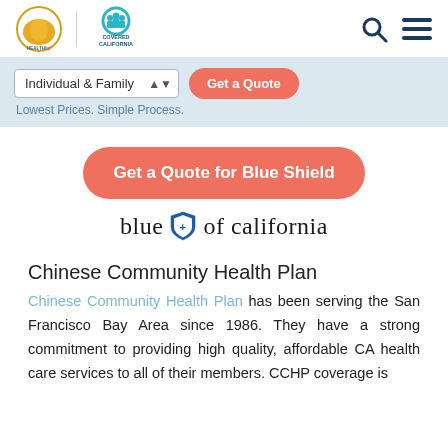[Figure (logo): Health for California and Covered California logos in the page header]
[Figure (logo): Search and hamburger menu nav icons]
[Figure (screenshot): Individual & Family dropdown selector and Get a Quote button on blue-gray banner; subtext: Lowest Prices. Simple Process.]
[Figure (other): Get a Quote for Blue Shield button (coral/salmon rounded rectangle)]
[Figure (logo): Blue Shield of California logo with shield icon]
Chinese Community Health Plan
Chinese Community Health Plan has been serving the San Francisco Bay Area since 1986. They have a strong commitment to providing high quality, affordable CA health care services to all of their members. CCHP coverage is